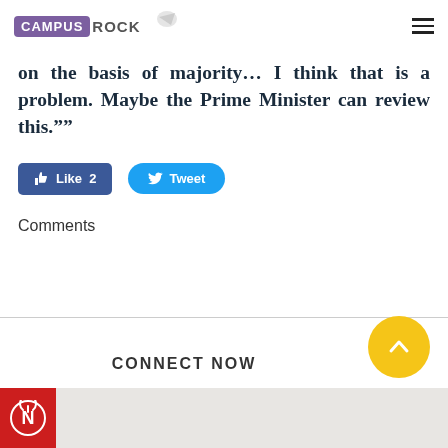CAMPUS ROCK
on the basis of majority... I think that is a problem. Maybe the Prime Minister can review this.””
[Figure (other): Facebook Like button showing count of 2 and Twitter Tweet button]
Comments
CONNECT NOW
[Figure (other): Bottom image strip with red box containing N logo and grey background]